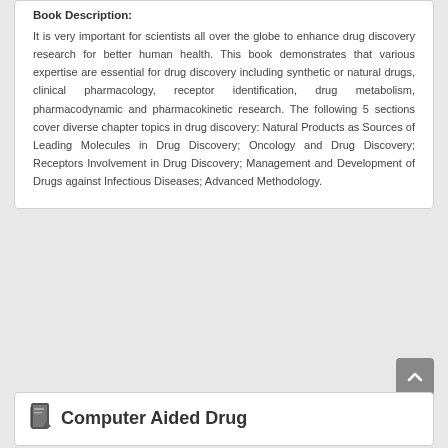Book Description:
It is very important for scientists all over the globe to enhance drug discovery research for better human health. This book demonstrates that various expertise are essential for drug discovery including synthetic or natural drugs, clinical pharmacology, receptor identification, drug metabolism, pharmacodynamic and pharmacokinetic research. The following 5 sections cover diverse chapter topics in drug discovery: Natural Products as Sources of Leading Molecules in Drug Discovery; Oncology and Drug Discovery; Receptors Involvement in Drug Discovery; Management and Development of Drugs against Infectious Diseases; Advanced Methodology.
Computer Aided Drug